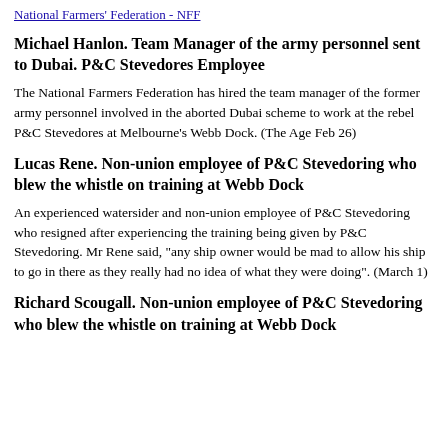National Farmers' Federation - NFF
Michael Hanlon. Team Manager of the army personnel sent to Dubai. P&C Stevedores Employee
The National Farmers Federation has hired the team manager of the former army personnel involved in the aborted Dubai scheme to work at the rebel P&C Stevedores at Melbourne's Webb Dock. (The Age Feb 26)
Lucas Rene. Non-union employee of P&C Stevedoring who blew the whistle on training at Webb Dock
An experienced watersider and non-union employee of P&C Stevedoring who resigned after experiencing the training being given by P&C Stevedoring. Mr Rene said, "any ship owner would be mad to allow his ship to go in there as they really had no idea of what they were doing". (March 1)
Richard Scougall. Non-union employee of P&C Stevedoring who blew the whistle on training at Webb Dock